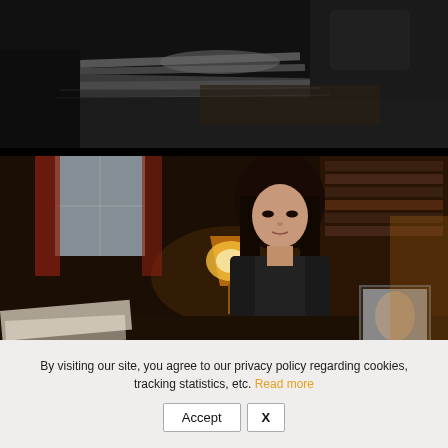[Figure (photo): Dark scene showing hands and stacked papers/books on a desk, a person in a black leather jacket in the background]
[Figure (photo): Woman with dark hair in a black leather jacket seated at a desk in a dimly lit room with a lamp and bookshelves in the background]
By visiting our site, you agree to our privacy policy regarding cookies, tracking statistics, etc. Read more
Accept   X